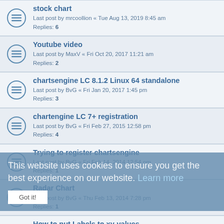stock chart
Last post by mrcoollion « Tue Aug 13, 2019 8:45 am
Replies: 6
Youtube video
Last post by MaxV « Fri Oct 20, 2017 11:21 am
Replies: 2
chartsengine LC 8.1.2 Linux 64 standalone
Last post by BvG « Fri Jan 20, 2017 1:45 pm
Replies: 3
chartengine LC 7+ registration
Last post by BvG « Fri Feb 27, 2015 12:58 pm
Replies: 4
Trying to register chartsengine
Last post by BvG « Fri Feb 14, 2014 12:54 pm
Replies: 1
Radar Chart
Last post by BvG « Thu Feb 13, 2014 7:28 pm
Replies: 1
How to put Labels to xy-values
Last post by BvG « Thu Sep 19, 2013 7:32 pm
Replies: 9
interactive points on a line graph
Last post by Coffee1633 « Thu Jul 18, 2013 11:00 am
Replies: 2
Chartsengine problems with LiveCode 6.0.1
Last post by jaguayo « Fri May 31, 2013 6:36 pm
Replies: 3
windows standalone
This website uses cookies to ensure you get the best experience on our website. Learn more